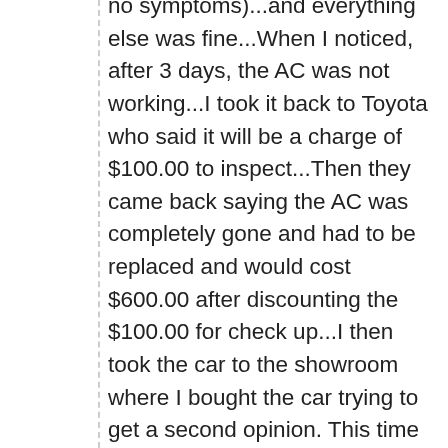no symptoms)...and everything else was fine...When I noticed, after 3 days, the AC was not working...I took it back to Toyota who said it will be a charge of $100.00 to inspect...Then they came back saying the AC was completely gone and had to be replaced and would cost $600.00 after discounting the $100.00 for check up...I then took the car to the showroom where I bought the car trying to get a second opinion. This time I got unlucky and they said every Toyota showroom estimate was different and then gave me an invoice for $792.047...Now, the AC is